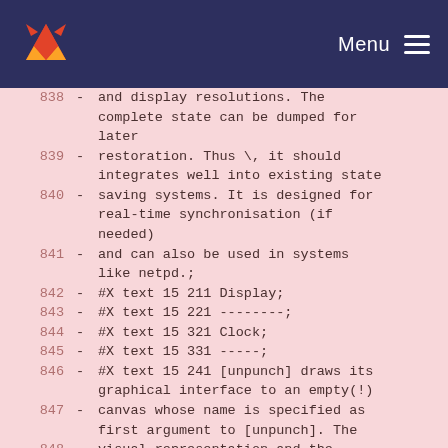GitLab | Menu
838 - and display resolutions. The complete state can be dumped for later
839 - restoration. Thus \, it should integrates well into existing state
840 - saving systems. It is designed for real-time synchronisation (if needed)
841 - and can also be used in systems like netpd.;
842 - #X text 15 211 Display;
843 - #X text 15 221 -------;
844 - #X text 15 321 Clock;
845 - #X text 15 331 -----;
846 - #X text 15 241 [unpunch] draws its graphical interface to an empty(!)
847 - canvas whose name is specified as first argument to [unpunch]. The
848 - visual representation and the internal state are decoupled \, so